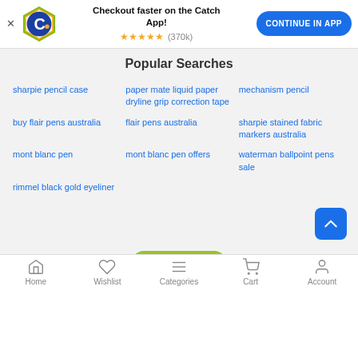[Figure (screenshot): Catch.com.au app banner with logo, star rating (370k), and Continue in App button]
Popular Searches
sharpie pencil case
paper mate liquid paper dryline grip correction tape
mechanism pencil
buy flair pens australia
flair pens australia
sharpie stained fabric markers australia
mont blanc pen
mont blanc pen offers
waterman ballpoint pens sale
rimmel black gold eyeliner
Home  Wishlist  Categories  Cart  Account